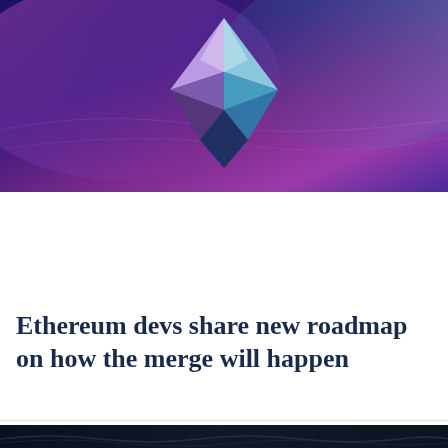[Figure (illustration): Ethereum logo crystal diamond shape glowing on a purple-blue gradient background with pink and teal light effects]
Ethereum devs share new roadmap on how the merge will happen
[Figure (illustration): Dark navy background with subtle wave patterns — partial bottom strip of a second article image]